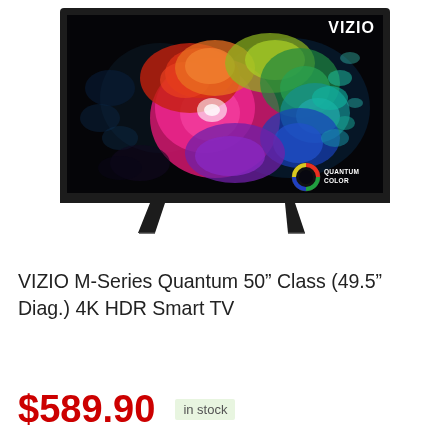[Figure (photo): VIZIO M-Series Quantum 50-inch TV with colorful powder explosion display image on screen. VIZIO logo in top right of screen. Quantum Color logo badge in bottom right of screen. TV has slim black frame and two angled stand feet.]
VIZIO M-Series Quantum 50" Class (49.5" Diag.) 4K HDR Smart TV
$589.90  in stock